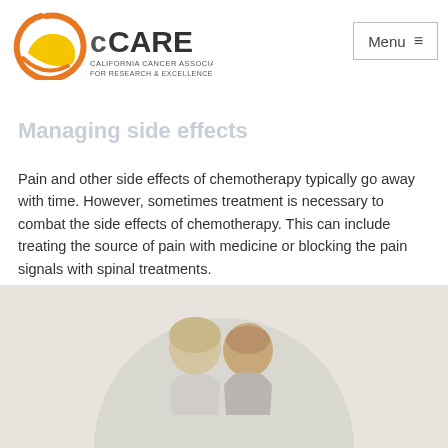Inability to multitask small activities
Trouble remembering details such as dates and names
Managing side effects
cCARE — California Cancer Associates for Research & Excellence
Pain and other side effects of chemotherapy typically go away with time. However, sometimes treatment is necessary to combat the side effects of chemotherapy. This can include treating the source of pain with medicine or blocking the pain signals with spinal treatments.
It's important to track symptoms and speak with a doctor as soon as the side effects begin to lower quality of life. Pain relief strategies might include directly treating the source of pain and changing medicine, chemotherapy cycles or spinal procedures that interfere with pain signals sent to the brain.
[Figure (photo): Elderly couple facing each other, photographed outdoors, shown in a circular crop on a beige/tan background]